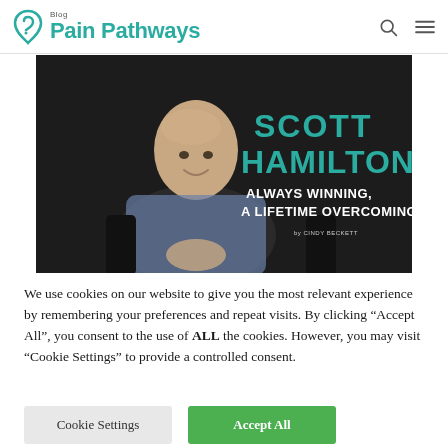Pain Pathways Blog
[Figure (photo): Scott Hamilton seated, smiling, wearing a checkered blue shirt against a dark background. Text overlay reads: SCOTT HAMILTON: ALWAYS WINNING, A LIFETIME OVERCOMING — by Cindy Beckett]
We use cookies on our website to give you the most relevant experience by remembering your preferences and repeat visits. By clicking "Accept All", you consent to the use of ALL the cookies. However, you may visit "Cookie Settings" to provide a controlled consent.
Cookie Settings | Accept All